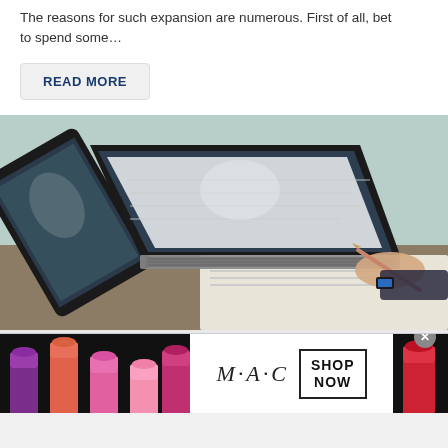The reasons for such expansion are numerous. First of all, bet to spend some…
READ MORE
[Figure (photo): Person writing at a desk with a laptop open in front of them, viewed from an angle; a tablet is visible in the foreground.]
[Figure (photo): MAC cosmetics advertisement banner showing colorful lipsticks on the left and right, the MAC logo in the center with a 'SHOP NOW' box.]